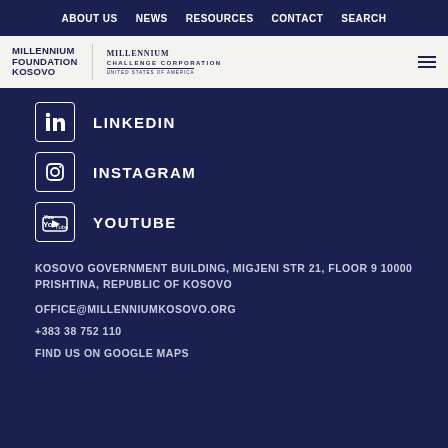ABOUT US  NEWS  RESOURCES  CONTACT  SEARCH
[Figure (logo): Millennium Foundation Kosovo and Millennium Challenge Corporation logos with hamburger menu icon]
LINKEDIN
INSTAGRAM
YOUTUBE
KOSOVO GOVERNMENT BUILDING, MIGJENI STR 21, FLOOR 9 10000 PRISHTINA, REPUBLIC OF KOSOVO
OFFICE@MILLENNIUMKOSOVO.ORG
+383 38 752 110
FIND US ON GOOGLE MAPS